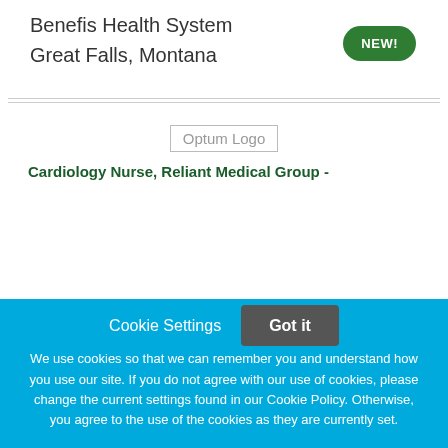Benefis Health System
Great Falls, Montana
[Figure (logo): Optum Logo]
Cardiology Nurse, Reliant Medical Group -
Cookie Settings   Got it
We use cookies so that we can remember you and understand how you use our site. If you do not agree with our use of cookies, please change the current settings found in our Cookie Policy. Otherwise, you agree to the use of the cookies as they are currently set.